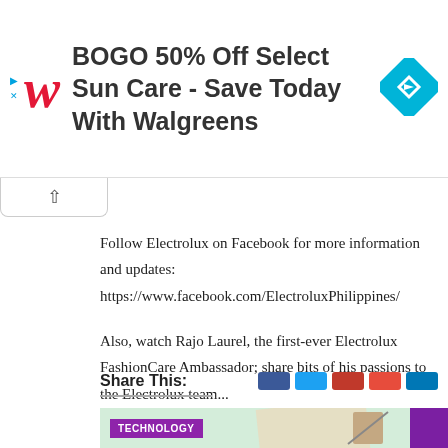[Figure (infographic): Walgreens advertisement banner: BOGO 50% Off Select Sun Care - Save Today With Walgreens. Shows Walgreens W logo in red italic and a cyan navigation diamond icon on the right. Small play/close icons on the left.]
Follow Electrolux on Facebook for more information and updates:
https://www.facebook.com/ElectroluxPhilippines/
Also, watch Rajo Laurel, the first-ever Electrolux FashionCare Ambassador; share bits of his passions to the Electrolux team...
Share This:
[Figure (screenshot): Technology article thumbnail showing papers and pencil on green background with TECHNOLOGY badge]